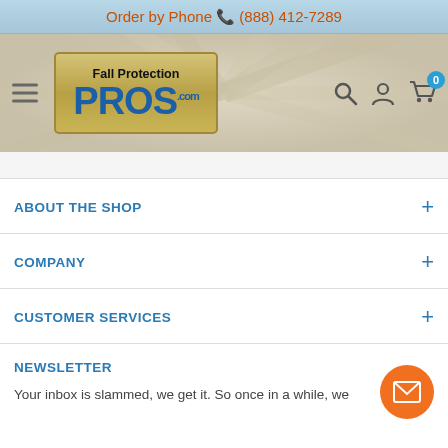Order by Phone (888) 412-7289
[Figure (logo): Fall Protection Pros logo on wood-textured background with hamburger menu, search, account, and cart icons]
ABOUT THE SHOP
COMPANY
CUSTOMER SERVICES
NEWSLETTER
Your inbox is slammed, we get it. So once in a while, we